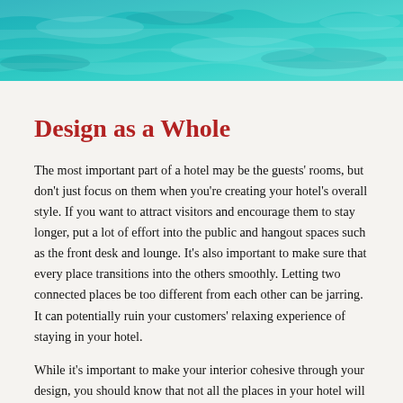[Figure (photo): Aerial or top-down view of turquoise/teal ocean water with rippled surface texture, serving as a decorative banner image at the top of the page.]
Design as a Whole
The most important part of a hotel may be the guests' rooms, but don't just focus on them when you're creating your hotel's overall style. If you want to attract visitors and encourage them to stay longer, put a lot of effort into the public and hangout spaces such as the front desk and lounge. It's also important to make sure that every place transitions into the others smoothly. Letting two connected places be too different from each other can be jarring. It can potentially ruin your customers' relaxing experience of staying in your hotel.
While it's important to make your interior cohesive through your design, you should know that not all the places in your hotel will be open to taking on a single theme. A few of these areas are commercial spaces and clubs, but you can still make